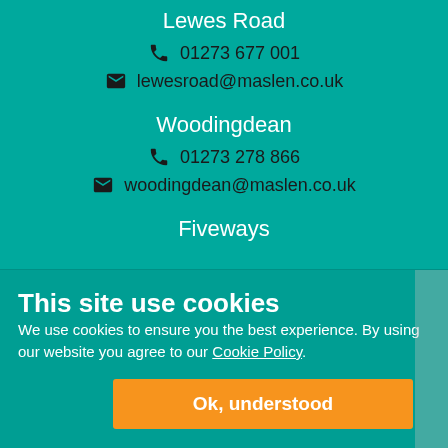Lewes Road
📞 01273 677 001
✉ lewesroad@maslen.co.uk
Woodingdean
📞 01273 278 866
✉ woodingdean@maslen.co.uk
Fiveways
This site use cookies
We use cookies to ensure you the best experience. By using our website you agree to our Cookie Policy.
Ok, understood